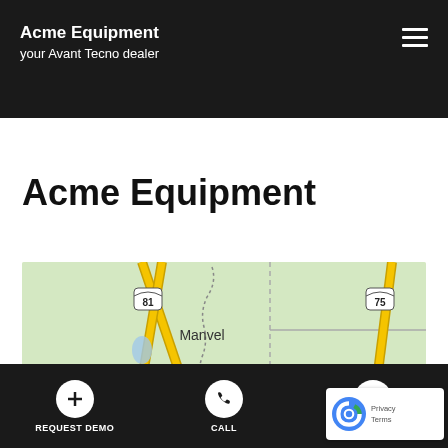Acme Equipment
your Avant Tecno dealer
Acme Equipment
[Figure (map): Google Maps view showing Manvel area with highways 81 and 75 marked. Yellow roads on light green background.]
REQUEST DEMO | CALL | SEND MESSAGE